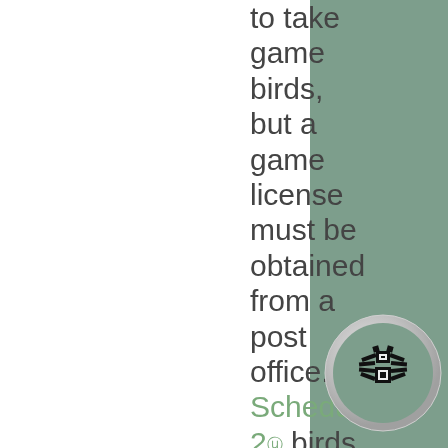to take game birds, but a game license must be obtained from a post office. Schedule 2 birds may also be taken without a quarry
[Figure (illustration): A pixelated black spider icon inside a circular emblem with gray background and white border, positioned in the lower right corner of the page on the sage green sidebar.]